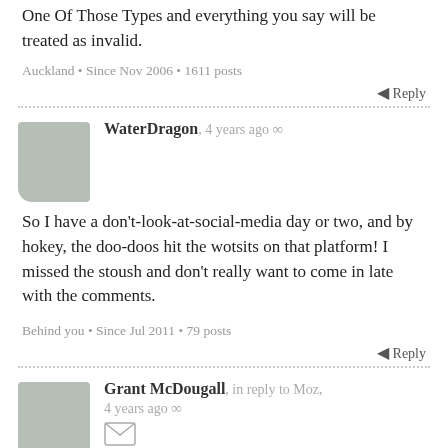One Of Those Types and everything you say will be treated as invalid.
Auckland • Since Nov 2006 • 1611 posts
Reply
WaterDragon, 4 years ago
So I have a don't-look-at-social-media day or two, and by hokey, the doo-doos hit the wotsits on that platform! I missed the stoush and don't really want to come in late with the comments.
Behind you • Since Jul 2011 • 79 posts
Reply
Grant McDougall, in reply to Moz, 4 years ago
Some time ago I suggested to Andrew Geddis on PA that he might like to try cycling for this exact reason and his response was "no, not